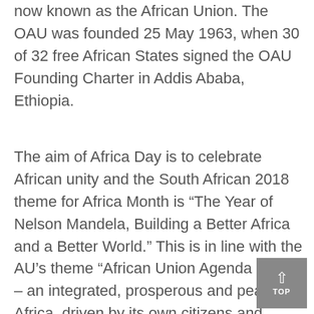now known as the African Union. The OAU was founded 25 May 1963, when 30 of 32 free African States signed the OAU Founding Charter in Addis Ababa, Ethiopia.
The aim of Africa Day is to celebrate African unity and the South African 2018 theme for Africa Month is “The Year of Nelson Mandela, Building a Better Africa and a Better World.” This is in line with the AU’s theme “African Union Agenda 2063 – an integrated, prosperous and peaceful Africa, driven by its own citizens and representing a dynamic force in the international arena.” Agenda 2063 is a joint African roadmap for continental development.
African unity matters because our fate is